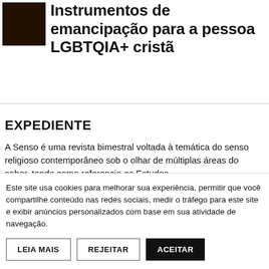[Figure (photo): Small dark/black portrait photo thumbnail in upper left]
Instrumentos de emancipação para a pessoa LGBTQIA+ cristã
EXPEDIENTE
A Senso é uma revista bimestral voltada à temática do senso religioso contemporâneo sob o olhar de múltiplas áreas do saber, tendo como referencia os Estudos
Este site usa cookies para melhorar sua experiência, permitir que você compartilhe conteúdo nas redes sociais, medir o tráfego para este site e exibir anúncios personalizados com base em sua atividade de navegação.
LEIA MAIS   REJEITAR   ACEITAR